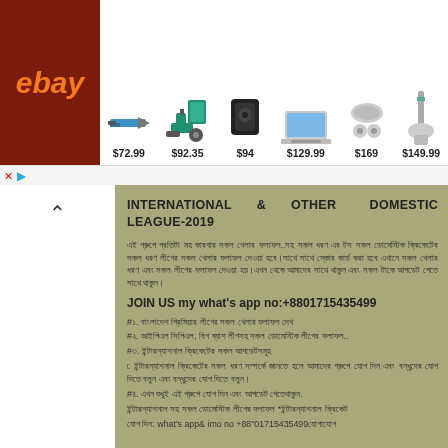[Figure (screenshot): eBay advertisement banner with product images and prices: $72.99, $92.35, $94, $129.99, $169, $149.99]
INTERNATIONAL & OTHER DOMESTIC LEAGUE-2019
Bengali text paragraph body content
JOIN US my what's app no:+8801715435499
#১. বাংলাদেশ প্রিমিয়ার লীগের সকল খেলার ফলাফল
#২. আইপিএল সিপিএল, বিগ ব্যাশ লীগসহ সকল ডোমেস্টিক লীগের ফলাফল..
#৩. ইন্টারন্যাশনাল ক্রিকেটের সকল আপডেটসমূহ
৷: ইন্টারন্যাশনাল ক্রিকেটের সকল ধরন সম্পর্কে জানতে হলে আমাদের গ্রুপে যোগ দিন এবং বন্ধুদের যোগ দিতে বলুন।
#৪. এখন শুধুই এই গ্রুপে যোগ দিন এবং আপডেট পেতেথাকুন.
ইন্টারন্যাশনাল সহ সকল ডোমেস্টিক লীগের ফলাফল *ইন্টারন্যাশনাল ক্রিকেট
যোগ দিন: what's app& imo no +88"01715435499যোগাযোগ